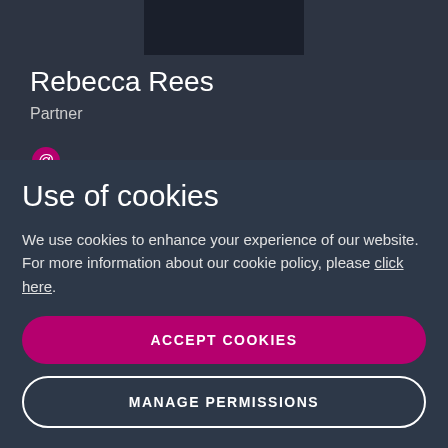[Figure (photo): Profile photo of Rebecca Rees, partially visible at top of page]
Rebecca Rees
Partner
Use of cookies
We use cookies to enhance your experience of our website. For more information about our cookie policy, please click here.
ACCEPT COOKIES
MANAGE PERMISSIONS